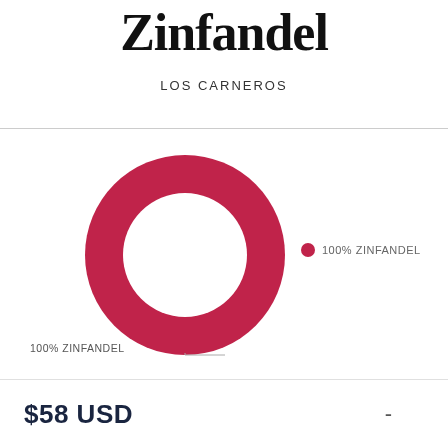Zinfandel
LOS CARNEROS
[Figure (donut-chart): Zinfandel - Los Carneros]
$58 USD
-